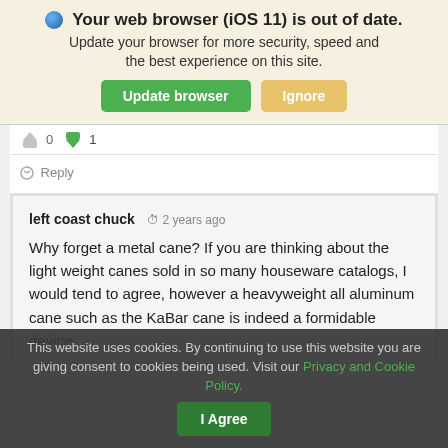🌐 Your web browser (iOS 11) is out of date. Update your browser for more security, speed and the best experience on this site.
Reply
left coast chuck  2 years ago
Why forget a metal cane? If you are thinking about the light weight canes sold in so many houseware catalogs, I would tend to agree, however a heavyweight all aluminum cane such as the KaBar cane is indeed a formidable device
This website uses cookies. By continuing to use this website you are giving consent to cookies being used. Visit our Privacy and Cookie Policy.